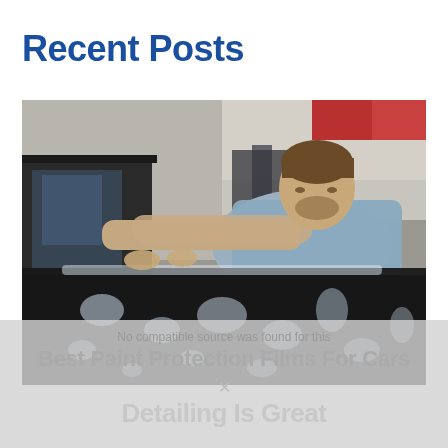Recent Posts
[Figure (photo): A man in a grey t-shirt applying clear paint protection film to the hood of a dark black car in a garage/workshop setting. The film shows water droplets and bubbles underneath as it is being applied.]
No compatible source was found for this
Best Paint Protection Films For Cars